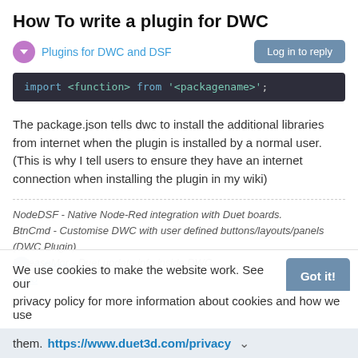How To write a plugin for DWC
Plugins for DWC and DSF
[Figure (screenshot): Code block showing: import <function> from '<packagename>';]
The package.json tells dwc to install the additional libraries from internet when the plugin is installed by a normal user. (This is why I tell users to ensure they have an internet connection when installing the plugin in my wiki)
NodeDSF - Native Node-Red integration with Duet boards.
BtnCmd - Customise DWC with user defined buttons/layouts/panels (DWC Plugin)
ReleaseMgr - Duet update info inside DWC.
Repo
We use cookies to make the website work. See our
1 Reply >
privacy policy for more information about cookies and how we use
them. https://www.duet3d.com/privacy